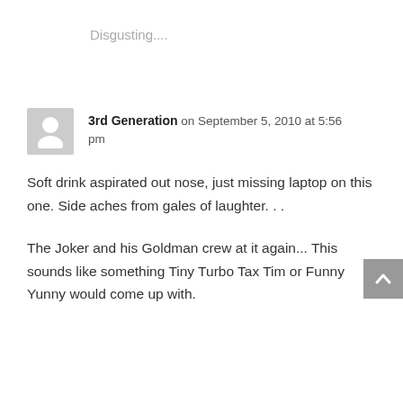Disgusting....
3rd Generation on September 5, 2010 at 5:56 pm
Soft drink aspirated out nose, just missing laptop on this one. Side aches from gales of laughter. . .
The Joker and his Goldman crew at it again... This sounds like something Tiny Turbo Tax Tim or Funny Yunny would come up with.